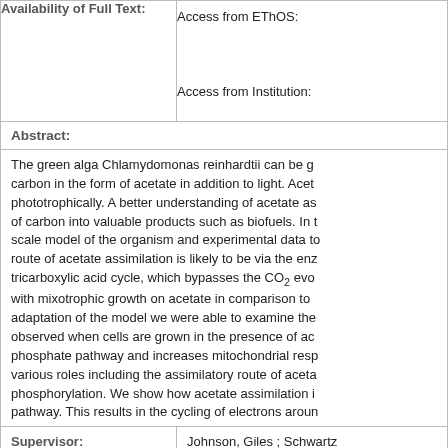| Availability of Full Text: | Access from EThOS:
Access from Institution: |
| Abstract: |  |
|  | The green alga Chlamydomonas reinhardtii can be g... carbon in the form of acetate in addition to light. Acet... phototrophically. A better understanding of acetate as... of carbon into valuable products such as biofuels. In ... scale model of the organism and experimental data t... route of acetate assimilation is likely to be via the enz... tricarboxylic acid cycle, which bypasses the CO2 evo... with mixotrophic growth on acetate in comparison to ... adaptation of the model we were able to examine the... observed when cells are grown in the presence of ac... phosphate pathway and increases mitochondrial resp... various roles including the assimilatory route of aceta... phosphorylation. We show how acetate assimilation i... pathway. This results in the cycling of electrons aroun... |
| Supervisor: | Johnson, Giles ; Schwartz... |
| Qualification Name: | Thesis (Ph.D.) |
| EThOS ID: | uk.bl.ethos.706252 |